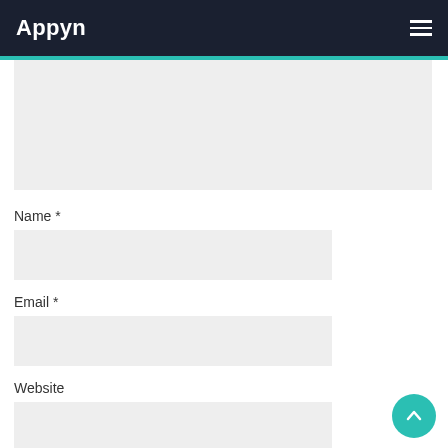Appyn
[Figure (screenshot): Gray textarea input field (comment/message box area), partially visible at top]
Name *
[Figure (screenshot): Name text input field, gray background, empty]
Email *
[Figure (screenshot): Email text input field, gray background, empty]
Website
[Figure (screenshot): Website text input field, gray background, empty]
Save my name, email, and website in this browser for the next time I